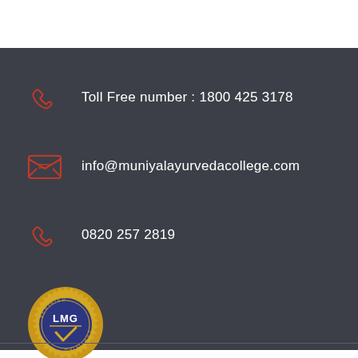Toll Free number : 1800 425 3178
info@muniyalayurvedacollege.com
0820 257 2819
[Figure (logo): LMG Verified gold seal badge with LMG text and checkmark in center on dark blue background]